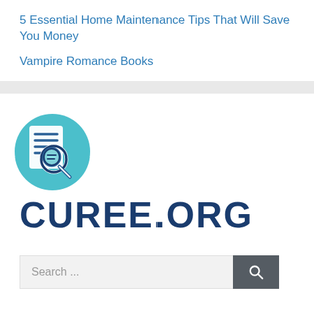5 Essential Home Maintenance Tips That Will Save You Money
Vampire Romance Books
[Figure (logo): Curee.org logo: teal circle with document and magnifying glass icon, beside bold dark blue text CUREE.ORG]
Search ...